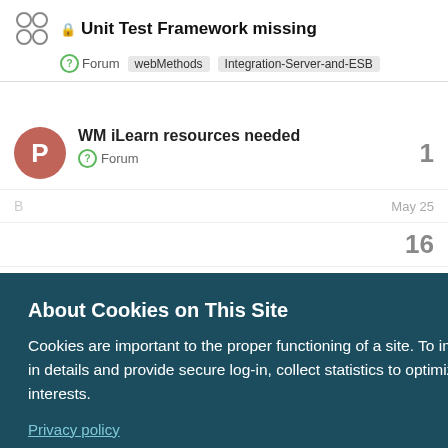Unit Test Framework missing | Forum | webMethods | Integration-Server-and-ESB
WM iLearn resources needed
Forum
1
May 25
16
on
Apr 2021
2
About Cookies on This Site
Cookies are important to the proper functioning of a site. To improve your experience, we use cookies to remember log-in details and provide secure log-in, collect statistics to optimize site functionality, and deliver content tailored to your interests.
Privacy policy
AGREE AND PROCEED